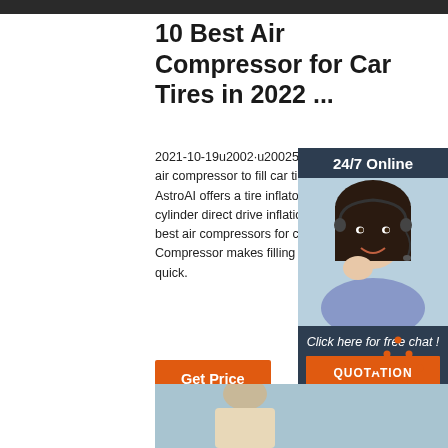[Figure (photo): Dark header image strip at top]
10 Best Air Compressor for Car Tires in 2022 ...
2021-10-19u2002·u20025. AstroAI Portab Best air compressor to fill car tires: For he duty use, AstroAI offers a tire inflator with a double cylinder direct drive inflation pump one of the best air compressors for car tire 2021. This Air Compressor makes filling ti extremely easy and quick.
[Figure (photo): Customer service representative with headset - 24/7 Online chat widget with orange QUOTATION button]
[Figure (other): Orange TOP logo with dots arranged in triangle shape]
[Figure (photo): Bottom image showing product or person, partially visible]
Get Price